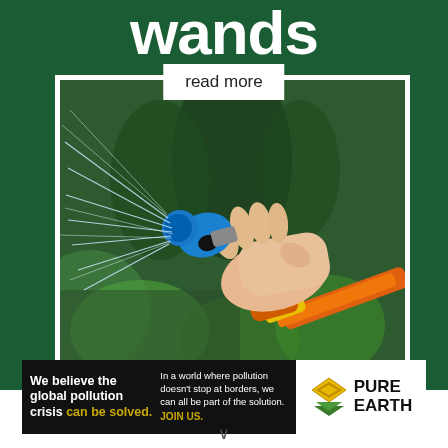wands
read more
[Figure (photo): A hand holding a blue garden spray nozzle attached to an orange and yellow hose, spraying water in multiple jets against a green leafy background]
[Figure (infographic): Pure Earth advertisement banner: 'We believe the global pollution crisis can be solved. In a world where pollution doesn't stop at borders, we can all be part of the solution. JOIN US.' with Pure Earth logo]
We believe the global pollution crisis can be solved.
In a world where pollution doesn't stop at borders, we can all be part of the solution. JOIN US.
PURE EARTH